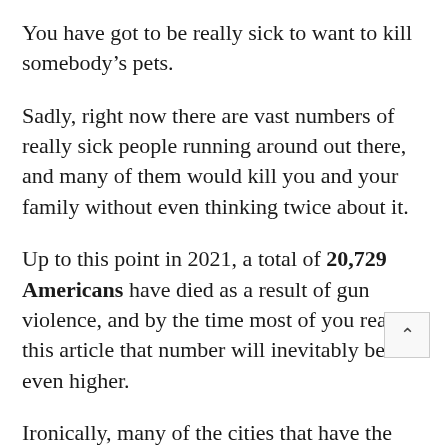You have got to be really sick to want to kill somebody’s pets.
Sadly, right now there are vast numbers of really sick people running around out there, and many of them would kill you and your family without even thinking twice about it.
Up to this point in 2021, a total of 20,729 Americans have died as a result of gun violence, and by the time most of you read this article that number will inevitably be even higher.
Ironically, many of the cities that have the strictest gun laws also have some of the highest murder